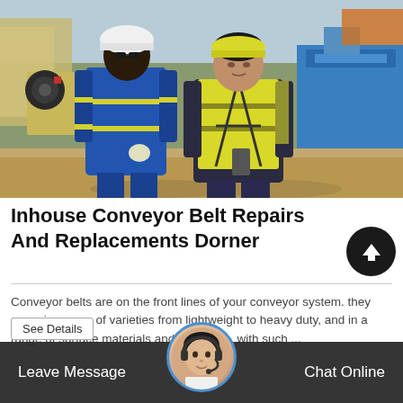[Figure (photo): Two workers in safety gear standing outdoors at an industrial/mining site. Left person wears blue coveralls and white hard hat. Right person wears yellow high-visibility vest and safety harness. Industrial machinery and equipment visible in background.]
Inhouse Conveyor Belt Repairs And Replacements Dorner
Conveyor belts are on the front lines of your conveyor system. they come in scores of varieties from lightweight to heavy duty, and in a range of surface materials and coverings. with such ...
Leave Message
Chat Online
See Details